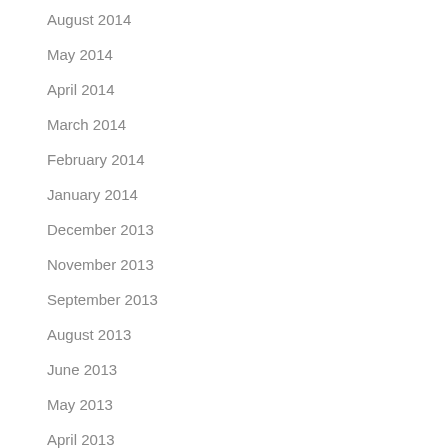August 2014
May 2014
April 2014
March 2014
February 2014
January 2014
December 2013
November 2013
September 2013
August 2013
June 2013
May 2013
April 2013
March 2013